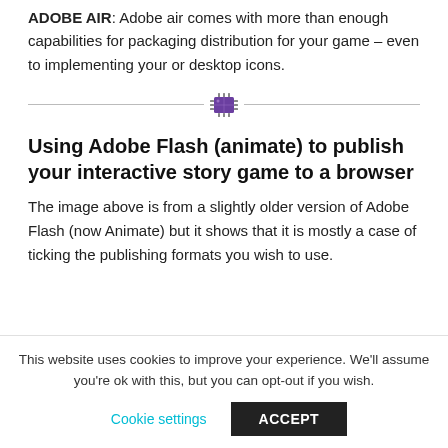ADOBE AIR: Adobe air comes with more than enough capabilities for packaging distribution for your game – even to implementing your or desktop icons.
[Figure (illustration): A decorative horizontal divider with a purple microchip/IC icon centered between two gray horizontal lines]
Using Adobe Flash (animate) to publish your interactive story game to a browser
The image above is from a slightly older version of Adobe Flash (now Animate) but it shows that it is mostly a case of ticking the publishing formats you wish to use.
This website uses cookies to improve your experience. We'll assume you're ok with this, but you can opt-out if you wish.
Cookie settings   ACCEPT